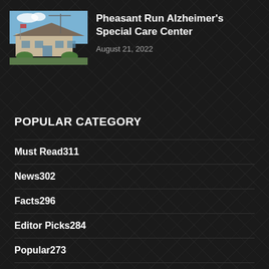[Figure (photo): Exterior photo of Pheasant Run Alzheimer's Special Care Center building with blue sky]
Pheasant Run Alzheimer's Special Care Center
August 21, 2022
POPULAR CATEGORY
Must Read311
News302
Facts296
Editor Picks284
Popular273
Exclusive264
Health258
Alzheimer88